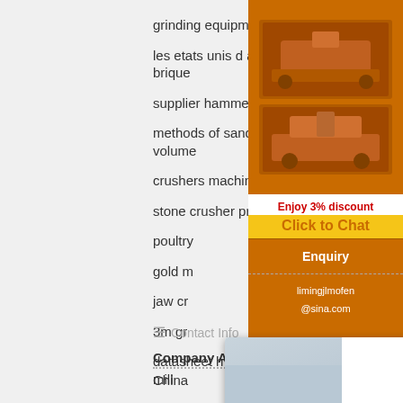grinding equipment ball mill
les etats unis d argile de la machine de brique
supplier hammer mill di jakarta
methods of sand mining   mill charge volume
crushers machine prise
stone crusher price of 400 ton per day
poultry...
gold m...
jaw cr...
3m gr...
datasheet hydrocyclone   concretize ball mill
[Figure (screenshot): Live Chat overlay with photo of workers in hard hats, LIVE CHAT title in red italic, Click for a Free Consultation subtitle, Chat now (red) and Chat later (dark) buttons]
[Figure (screenshot): Right sidebar with orange background showing mining machinery images, Enjoy 3% discount / Click to Chat bar, Enquiry section, and limingjlmofen@sina.com email]
Contact Info
Company Address
China